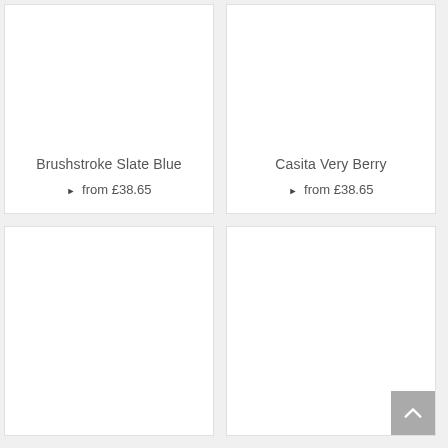[Figure (photo): Product card top-left: Brushstroke Slate Blue, white background, empty image area]
Brushstroke Slate Blue
▶ from £38.65
[Figure (photo): Product card top-right: Casita Very Berry, white background, empty image area]
Casita Very Berry
▶ from £38.65
[Figure (photo): Product card bottom-left: white background, empty image area, no title visible]
[Figure (photo): Product card bottom-right: white background, empty image area, back-to-top button]